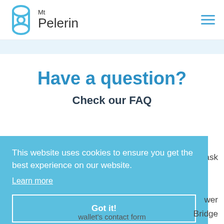[Figure (logo): Mt Pelerin logo with teal hourglass/bowtie icon and 'Mt Pelerin' text]
Have a question?
Check our FAQ
s ask
This website uses cookies to ensure you get the best experience on our website. Learn more
Got it!
wer
Bridge
wallet's contact form